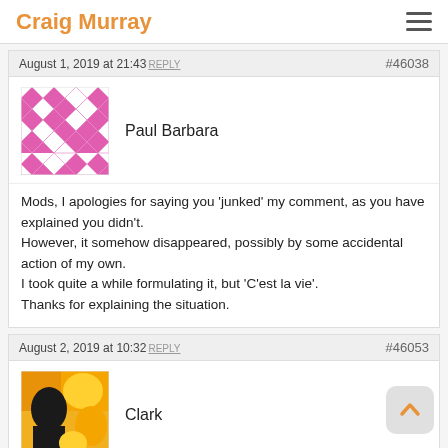Craig Murray
August 1, 2019 at 21:43 REPLY   #46038
[Figure (illustration): Pink geometric/diamond patterned avatar for user Paul Barbara]
Paul Barbara
Mods, I apologies for saying you 'junked' my comment, as you have explained you didn't.
However, it somehow disappeared, possibly by some accidental action of my own.
I took quite a while formulating it, but 'C'est la vie'.
Thanks for explaining the situation.
August 2, 2019 at 10:32 REPLY   #46053
[Figure (photo): Colorful abstract photo avatar for user Clark — dark silhouette figure against orange/yellow background]
Clark